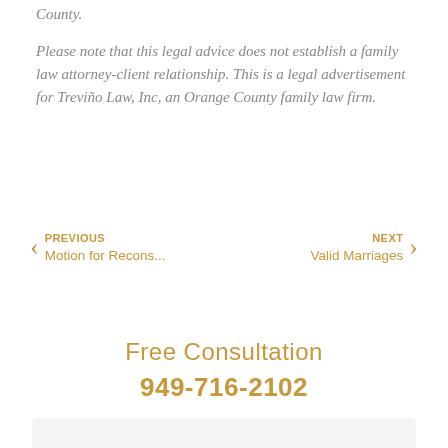County.
Please note that this legal advice does not establish a family law attorney-client relationship. This is a legal advertisement for Treviño Law, Inc, an Orange County family law firm.
PREVIOUS Motion for Recons...
NEXT Valid Marriages
Free Consultation
949-716-2102